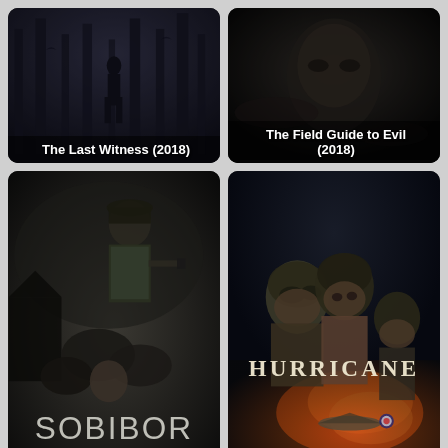[Figure (photo): Movie poster for The Last Witness (2018) – dark forest scene with silhouette]
The Last Witness (2018)
[Figure (photo): Movie poster for The Field Guide to Evil (2018) – eerie face]
The Field Guide to Evil (2018)
[Figure (photo): Movie poster for Sobibor (2018) – WWII military scene with SOBIBOR title]
Sobibor (2018)
[Figure (photo): Movie poster for Hurricane (2018) – WWII pilots with HURRICANE title]
Hurricane (2018)
[Figure (photo): Movie poster bottom left – close up of arm with band]
[Figure (photo): Movie poster bottom right – black and white couple scene]